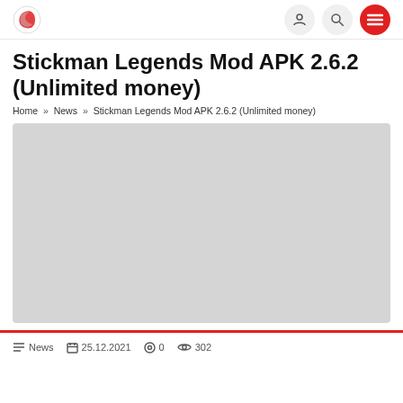Stickman Legends Mod APK 2.6.2 (Unlimited money)
Home » News » Stickman Legends Mod APK 2.6.2 (Unlimited money)
[Figure (photo): Large grey placeholder image area]
News  25.12.2021  0  302